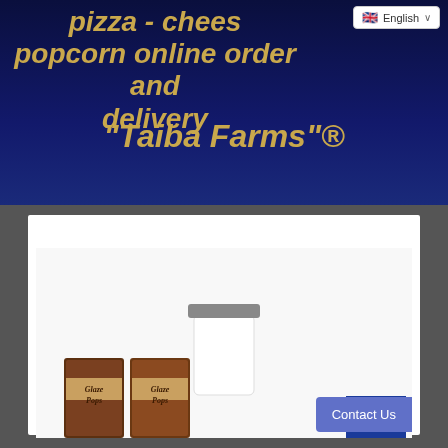English
pizza - cheese popcorn online order and delivery
“Taiba Farms”®
[Figure (photo): Product photo showing Glaze Pops boxes and a glass jar with popcorn products, partial view of a blue box at bottom right, on a white background card.]